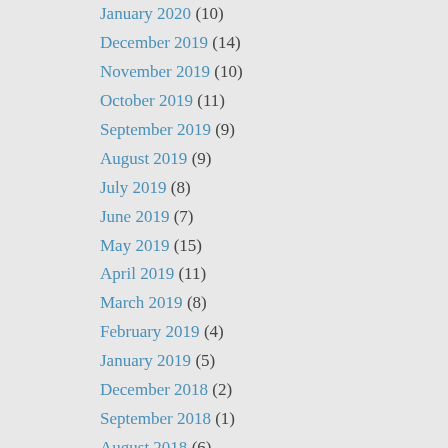January 2020 (10)
December 2019 (14)
November 2019 (10)
October 2019 (11)
September 2019 (9)
August 2019 (9)
July 2019 (8)
June 2019 (7)
May 2019 (15)
April 2019 (11)
March 2019 (8)
February 2019 (4)
January 2019 (5)
December 2018 (2)
September 2018 (1)
August 2018 (6)
July 2018 (14)
June 2018 (11)
May 2018 (18)
April 2018 (16)
March 2018 (14)